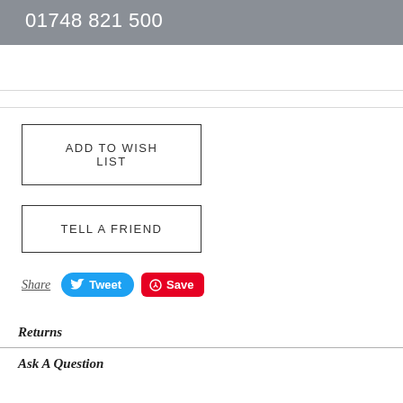01748 821 500
ADD TO WISH LIST
TELL A FRIEND
Share  Tweet  Save
Returns
Ask A Question